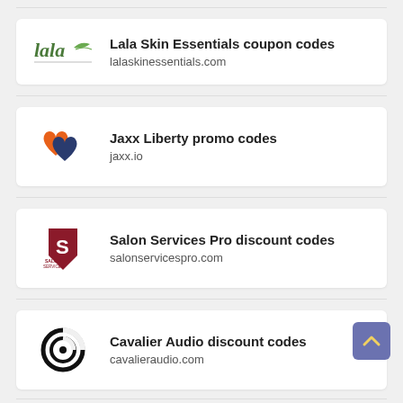[Figure (logo): Lala Skin Essentials logo - cursive green text]
Lala Skin Essentials coupon codes
lalaskinessentials.com
[Figure (logo): Jaxx Liberty logo - orange and dark blue overlapping hearts]
Jaxx Liberty promo codes
jaxx.io
[Figure (logo): Salon Services Pro logo - red shield with S and text]
Salon Services Pro discount codes
salonservicespro.com
[Figure (logo): Cavalier Audio logo - black circular C target icon]
Cavalier Audio discount codes
cavalieraudio.com